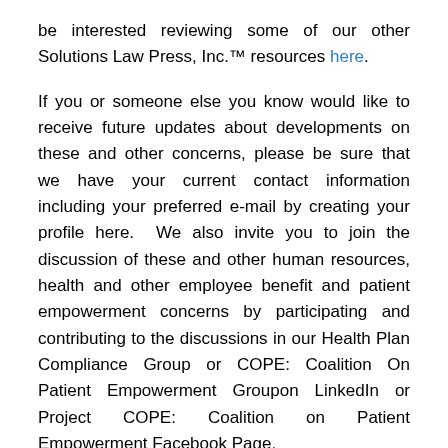be interested reviewing some of our other Solutions Law Press, Inc.™ resources here.
If you or someone else you know would like to receive future updates about developments on these and other concerns, please be sure that we have your current contact information including your preferred e-mail by creating your profile here.  We also invite you to join the discussion of these and other human resources, health and other employee benefit and patient empowerment concerns by participating and contributing to the discussions in our Health Plan Compliance Group or COPE: Coalition On Patient Empowerment Groupon LinkedIn or Project COPE: Coalition on Patient Empowerment Facebook Page.
NOTICE: These statements and materials are for general